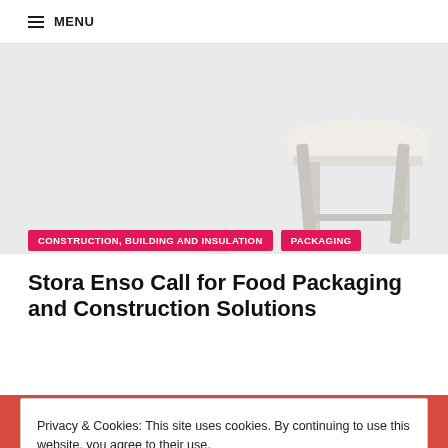≡ MENU
[Figure (photo): Partial view of a modern white chair leg against a light background]
CONSTRUCTION, BUILDING AND INSULATION
PACKAGING
Stora Enso Call for Food Packaging and Construction Solutions
Privacy & Cookies: This site uses cookies. By continuing to use this website, you agree to their use.
To find out more, including how to control cookies, see here: Cookie Policy
Close and accept
[Figure (other): Recycle Week banner with recycling icon and large white text on red background]